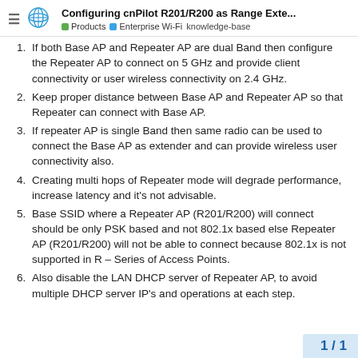Configuring cnPilot R201/R200 as Range Exte... | Products | Enterprise Wi-Fi | knowledge-base
If both Base AP and Repeater AP are dual Band then configure the Repeater AP to connect on 5 GHz and provide client connectivity or user wireless connectivity on 2.4 GHz.
Keep proper distance between Base AP and Repeater AP so that Repeater can connect with Base AP.
If repeater AP is single Band then same radio can be used to connect the Base AP as extender and can provide wireless user connectivity also.
Creating multi hops of Repeater mode will degrade performance, increase latency and it's not advisable.
Base SSID where a Repeater AP (R201/R200) will connect should be only PSK based and not 802.1x based else Repeater AP (R201/R200) will not be able to connect because 802.1x is not supported in R – Series of Access Points.
Also disable the LAN DHCP server of Repeater AP, to avoid multiple DHCP server IP's and operations at each step.
1 / 1